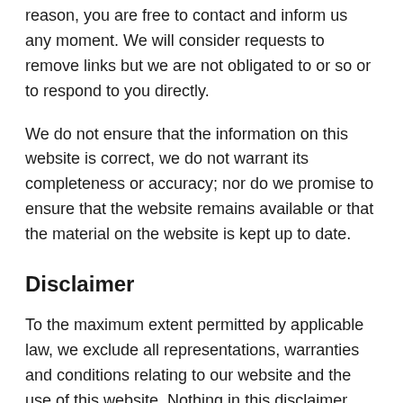reason, you are free to contact and inform us any moment. We will consider requests to remove links but we are not obligated to or so or to respond to you directly.
We do not ensure that the information on this website is correct, we do not warrant its completeness or accuracy; nor do we promise to ensure that the website remains available or that the material on the website is kept up to date.
Disclaimer
To the maximum extent permitted by applicable law, we exclude all representations, warranties and conditions relating to our website and the use of this website. Nothing in this disclaimer will:
limit or exclude our or your liability for death or personal